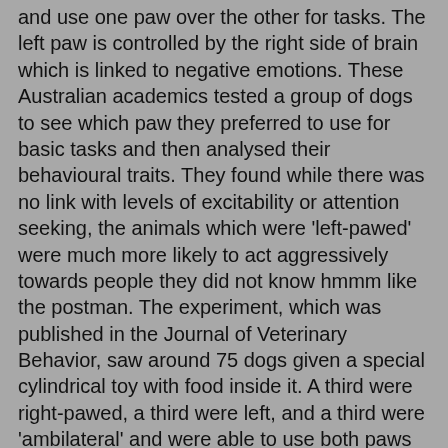and use one paw over the other for tasks. The left paw is controlled by the right side of brain which is linked to negative emotions. These Australian academics tested a group of dogs to see which paw they preferred to use for basic tasks and then analysed their behavioural traits. They found while there was no link with levels of excitability or attention seeking, the animals which were 'left-pawed' were much more likely to act aggressively towards people they did not know hmmm like the postman. The experiment, which was published in the Journal of Veterinary Behavior, saw around 75 dogs given a special cylindrical toy with food inside it. A third were right-pawed, a third were left, and a third were 'ambilateral' and were able to use both paws equally.
So To take the test to find out if you are a 'leftie' or a 'rightie'
If you teach a dog to shake, which paw does it offer you first and most often?
Fill a toy with something delicious and put it in the center of the dog's visual field. Which paw does it use to touch the toy